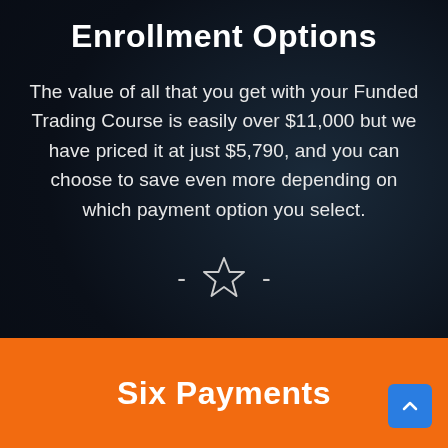Enrollment Options
The value of all that you get with your Funded Trading Course is easily over $11,000 but we have priced it at just $5,790, and you can choose to save even more depending on which payment option you select.
[Figure (illustration): Decorative divider with dashes and an outlined star icon: - ☆ -]
Six Payments